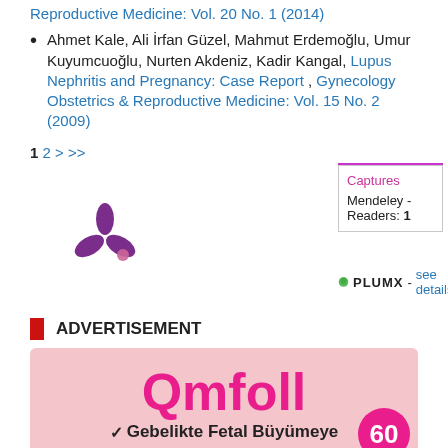Reproductive Medicine: Vol. 20 No. 1 (2014)
Ahmet Kale, Ali İrfan Güzel, Mahmut Erdemoğlu, Umur Kuyumcuoğlu, Nurten Akdeniz, Kadir Kangal, Lupus Nephritis and Pregnancy: Case Report , Gynecology Obstetrics & Reproductive Medicine: Vol. 15 No. 2 (2009)
1 2 > >>
[Figure (logo): Mendeley PlumX metrics widget showing purple Mendeley logo/snowflake icon]
Captures
Mendeley - Readers: 1
PLUMX - see details
ADVERTISEMENT
[Figure (photo): Advertisement for Qmfoll medication with pink background showing brand name in large pink text and Turkish text 'Gebelikte Fetal Büyümeye' with checkmark, and 60 in pink circle badge]